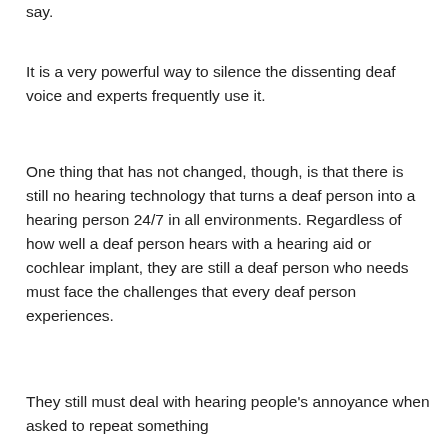say.
It is a very powerful way to silence the dissenting deaf voice and experts frequently use it.
One thing that has not changed, though, is that there is still no hearing technology that turns a deaf person into a hearing person 24/7 in all environments. Regardless of how well a deaf person hears with a hearing aid or cochlear implant, they are still a deaf person who needs must face the challenges that every deaf person experiences.
They still must deal with hearing people's annoyance when asked to repeat something